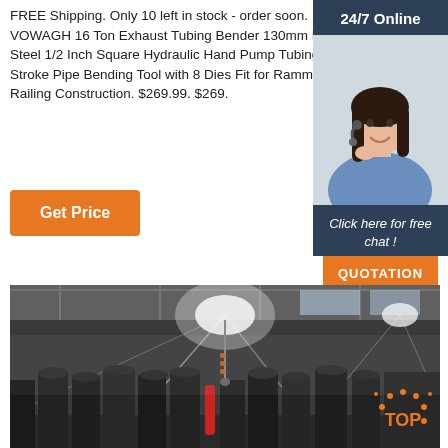FREE Shipping. Only 10 left in stock - order soon. VOWAGH 16 Ton Exhaust Tubing Bender 130mm Pipe Bender Steel 1/2 Inch Square Hydraulic Hand Pump Tubing Bender Stroke Pipe Bending Tool with 8 Dies Fit for Ramming Protection, Railing Construction. $269.99. $269.
[Figure (other): Orange 'Get Price' button]
[Figure (other): 24/7 Online customer support sidebar with photo of woman wearing headset, 'Click here for free chat!' text, and orange QUOTATION button on dark blue background]
[Figure (photo): Industrial factory/workshop interior with rows of heavy machinery, overhead lighting with lens flares, high ceiling with metal trusses]
[Figure (other): Orange dotted TOP badge in bottom-right corner]